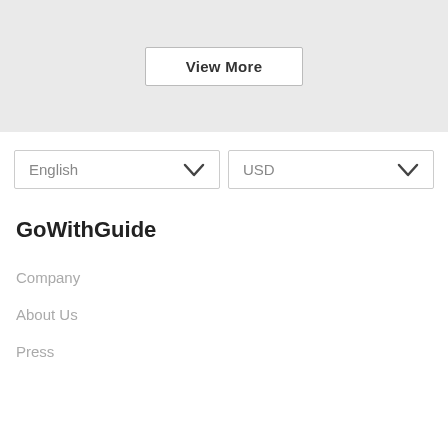View More
English
USD
GoWithGuide
Company
About Us
Press